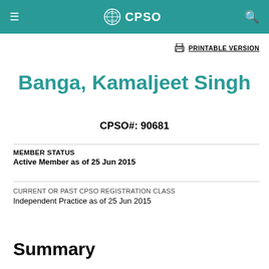CPSO
PRINTABLE VERSION
Banga, Kamaljeet Singh
CPSO#: 90681
MEMBER STATUS
Active Member as of 25 Jun 2015
CURRENT OR PAST CPSO REGISTRATION CLASS
Independent Practice as of 25 Jun 2015
Summary